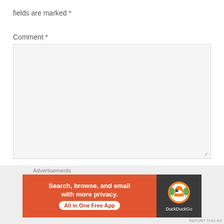fields are marked *
Comment *
[Figure (screenshot): Empty comment textarea input field with light gray background and resize handle]
Name *
[Figure (screenshot): Empty name text input field with light gray background]
[Figure (screenshot): Close (X) button circle overlay]
Advertisements
[Figure (screenshot): DuckDuckGo advertisement banner: 'Search, browse, and email with more privacy. All in One Free App' with DuckDuckGo logo on dark background]
REPORT THIS AD